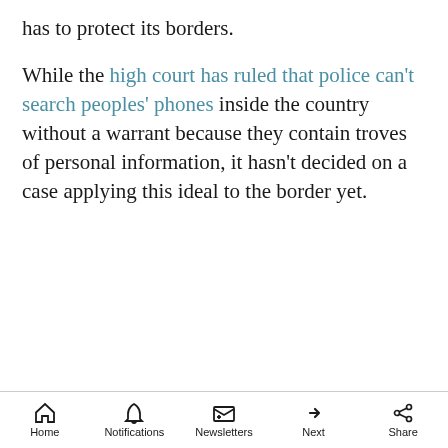has to protect its borders. While the high court has ruled that police can't search peoples' phones inside the country without a warrant because they contain troves of personal information, it hasn't decided on a case applying this ideal to the border yet.
Advertisement
Home | Notifications | Newsletters | Next | Share